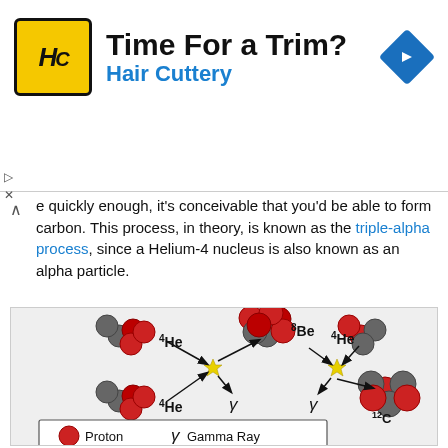[Figure (other): Hair Cuttery advertisement banner with logo, title 'Time For a Trim?', and navigation arrow icon]
e quickly enough, it's conceivable that you'd be able to form carbon. This process, in theory, is known as the triple-alpha process, since a Helium-4 nucleus is also known as an alpha particle.
[Figure (illustration): Diagram of the triple-alpha process showing two Helium-4 nuclei combining to form Beryllium-8 (with gamma ray), then a third Helium-4 nucleus combining to form Carbon-12 (with gamma ray). Legend shows red spheres = Proton, gray spheres = Neutron, gamma symbol = Gamma Ray.]